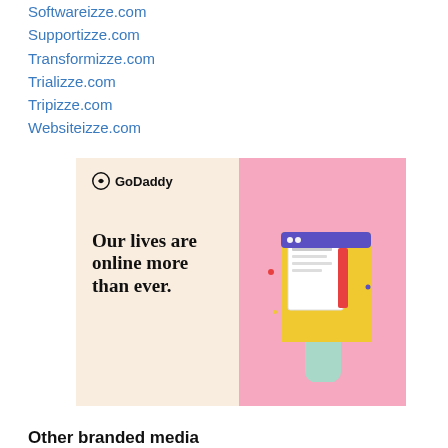Softwareizze.com
Supportizze.com
Transformizze.com
Trializze.com
Tripizze.com
Websiteizze.com
[Figure (illustration): GoDaddy advertisement with cream left panel showing GoDaddy logo and bold text 'Our lives are online more than ever.' and pink right panel showing a 3D illustration of a hand holding a tablet with browser windows.]
Other branded media